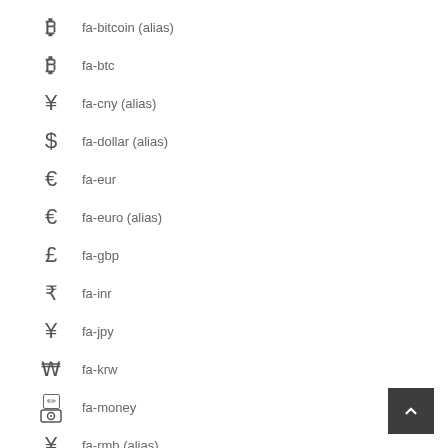fa-bitcoin (alias)
fa-btc
fa-cny (alias)
fa-dollar (alias)
fa-eur
fa-euro (alias)
fa-gbp
fa-inr
fa-jpy
fa-krw
fa-money
fa-rmb (alias)
fa-rouble (alias)